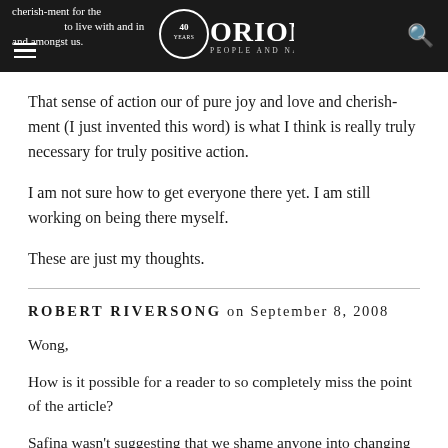cherish-ment for the … and the … to live with and in … amongst us. | ORION PEOPLE AND NATURE (40 years logo)
That sense of action our of pure joy and love and cherish-ment (I just invented this word) is what I think is really truly necessary for truly positive action.
I am not sure how to get everyone there yet. I am still working on being there myself.
These are just my thoughts.
ROBERT RIVERSONG on September 8, 2008
Wong,
How is it possible for a reader to so completely miss the point of the article?
Safina wasn't suggesting that we shame anyone into changing – only that he has recognized the moral shame in how we treat each other and the earth.